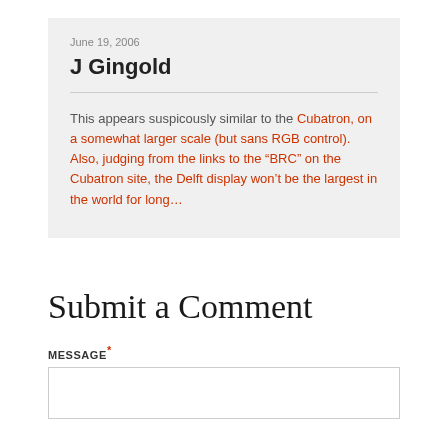June 19, 2006
J Gingold
This appears suspicously similar to the Cubatron, on a somewhat larger scale (but sans RGB control). Also, judging from the links to the “BRC” on the Cubatron site, the Delft display won’t be the largest in the world for long…
Submit a Comment
MESSAGE*